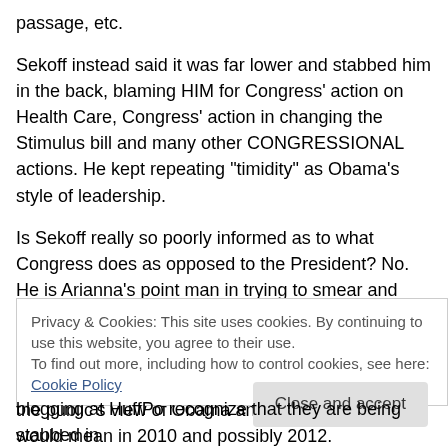passage, etc.
Sekoff instead said it was far lower and stabbed him in the back, blaming HIM for Congress' action on Health Care, Congress' action in changing the Stimulus bill and many other CONGRESSIONAL actions. He kept repeating "timidity" as Obama's style of leadership.
Is Sekoff really so poorly informed as to what Congress does as opposed to the President? No. He is Arianna's point man in trying to smear and undermine this president under the guise of sticking up for Progressives.
It doesn't take a genius to figure out what damaging the public's view of Obama and the Dem congress would mean in 2010 and possibly 2012.
Privacy & Cookies: This site uses cookies. By continuing to use this website, you agree to their use.
To find out more, including how to control cookies, see here: Cookie Policy
Close and accept
blogging at HuffPo recognize that they are being stabbed in